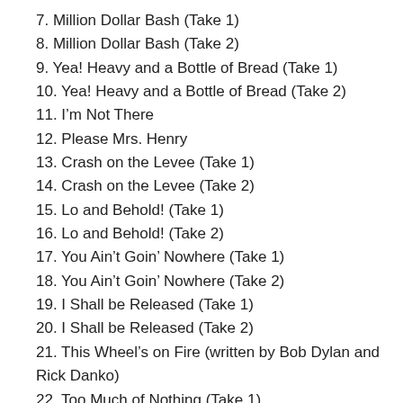7. Million Dollar Bash (Take 1)
8. Million Dollar Bash (Take 2)
9. Yea! Heavy and a Bottle of Bread (Take 1)
10. Yea! Heavy and a Bottle of Bread (Take 2)
11. I’m Not There
12. Please Mrs. Henry
13. Crash on the Levee (Take 1)
14. Crash on the Levee (Take 2)
15. Lo and Behold! (Take 1)
16. Lo and Behold! (Take 2)
17. You Ain’t Goin’ Nowhere (Take 1)
18. You Ain’t Goin’ Nowhere (Take 2)
19. I Shall be Released (Take 1)
20. I Shall be Released (Take 2)
21. This Wheel’s on Fire (written by Bob Dylan and Rick Danko)
22. Too Much of Nothing (Take 1)
23. Too Much of Nothing (Take 2)